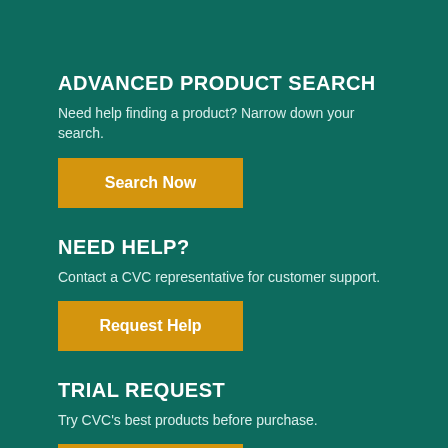ADVANCED PRODUCT SEARCH
Need help finding a product? Narrow down your search.
[Figure (other): Orange button labeled 'Search Now']
NEED HELP?
Contact a CVC representative for customer support.
[Figure (other): Orange button labeled 'Request Help']
TRIAL REQUEST
Try CVC's best products before purchase.
[Figure (other): Orange button partially visible at bottom]